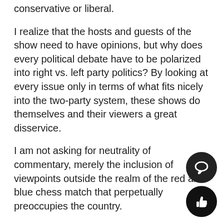conservative or liberal.
I realize that the hosts and guests of the show need to have opinions, but why does every political debate have to be polarized into right vs. left party politics? By looking at every issue only in terms of what fits nicely into the two-party system, these shows do themselves and their viewers a great disservice.
I am not asking for neutrality of commentary, merely the inclusion of viewpoints outside the realm of the red and blue chess match that perpetually preoccupies the country.
This oversimplification of issues on major networks tends to favor one party over the other, but more importantly, it serves to stifle independent analysis of a problem and suppress free thought.